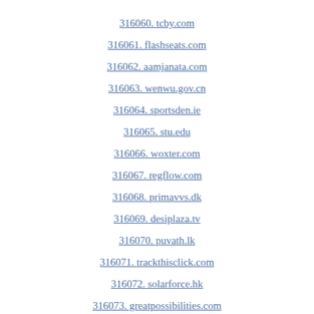316060. tcby.com
316061. flashseats.com
316062. aamjanata.com
316063. wenwu.gov.cn
316064. sportsden.ie
316065. stu.edu
316066. woxter.com
316067. regflow.com
316068. primavvs.dk
316069. desiplaza.tv
316070. puvath.lk
316071. trackthisclick.com
316072. solarforce.hk
316073. greatpossibilities.com